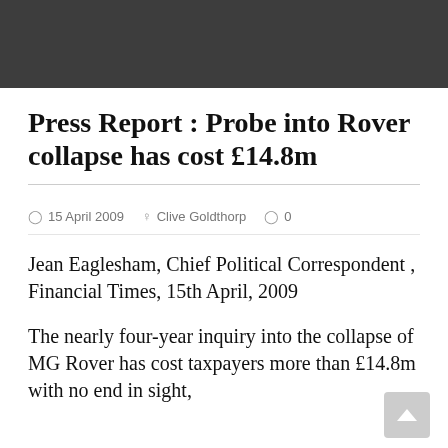Press Report : Probe into Rover collapse has cost £14.8m
15 April 2009   Clive Goldthorp   0
Jean Eaglesham, Chief Political Correspondent , Financial Times, 15th April, 2009
The nearly four-year inquiry into the collapse of MG Rover has cost taxpayers more than £14.8m with no end in sight,